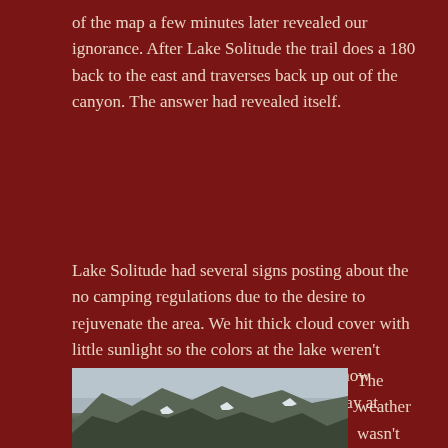of the map a few minutes later revealed our ignorance. After Lake Solitude the trail does a 180 back to the east and traverses back up out of the canyon.  The answer had revealed itself.
Lake Solitude had several signs posting about the no camping regulations due to the desire to rejuvenate the area.  We hit thick cloud cover with little sunlight so the colors at the lake weren't popping for us.  We could only imagine how beautiful it must have been on another day at another time of the year.
[Figure (photo): A mountain landscape with rocky peaks, snow patches, and forest in the foreground under an overcast sky.]
The weather wasn't raining but it